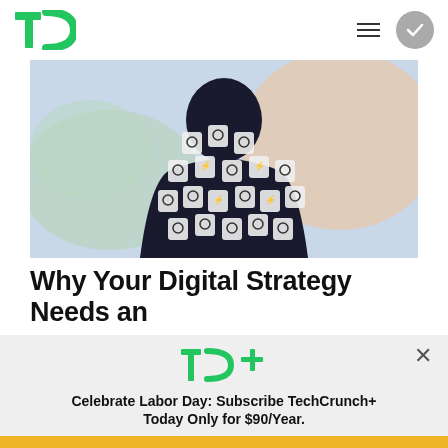TechCrunch (TC logo)
[Figure (illustration): Digital art of a human silhouette covered in shield/security icons with eye symbols, set against a light blue and peach background with cloud-like shapes]
Why Your Digital Strategy Needs an
[Figure (logo): TC+ logo in green with a plus sign]
Celebrate Labor Day: Subscribe TechCrunch+ Today Only for $90/Year.
GET OFFER NOW